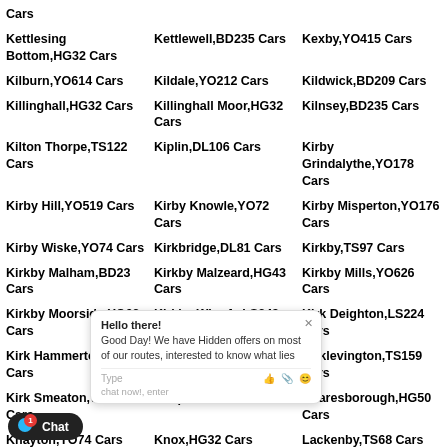Cars
Kettlesing Bottom,HG32 Cars
Kettlewell,BD235 Cars
Kexby,YO415 Cars
Kilburn,YO614 Cars
Kildale,YO212 Cars
Kildwick,BD209 Cars
Killinghall,HG32 Cars
Killinghall Moor,HG32 Cars
Kilnsey,BD235 Cars
Kilton Thorpe,TS122 Cars
Kiplin,DL106 Cars
Kirby Grindalythe,YO178 Cars
Kirby Hill,YO519 Cars
Kirby Knowle,YO72 Cars
Kirby Misperton,YO176 Cars
Kirby Wiske,YO74 Cars
Kirkbridge,DL81 Cars
Kirkby,TS97 Cars
Kirkby Malham,BD23 Cars
Kirkby Malzeard,HG43 Cars
Kirkby Mills,YO626 Cars
Kirkby Moorside,YO62 Cars
Kirkby Wharfe,LS249 Cars
Kirk Deighton,LS224 Cars
Kirk Hammerton,YO268 Cars
Kirkleatham,TS105 Cars
Kirklevington,TS159 Cars
Kirk Smeaton,WF83 Cars
Knapton,YO266 Cars
Knaresborough,HG50 Cars
Knayton,YO74 Cars
Knox,HG32 Cars
Lackenby,TS68 Cars